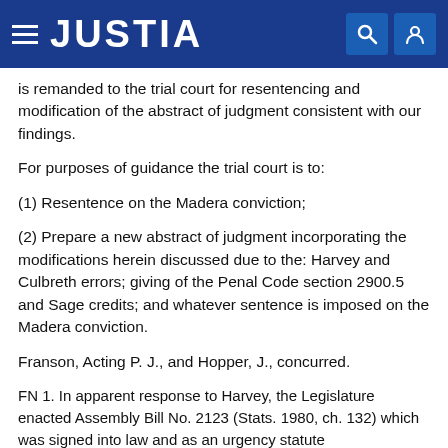JUSTIA
is remanded to the trial court for resentencing and modification of the abstract of judgment consistent with our findings.
For purposes of guidance the trial court is to:
(1) Resentence on the Madera conviction;
(2) Prepare a new abstract of judgment incorporating the modifications herein discussed due to the: Harvey and Culbreth errors; giving of the Penal Code section 2900.5 and Sage credits; and whatever sentence is imposed on the Madera conviction.
Franson, Acting P. J., and Hopper, J., concurred.
FN 1. In apparent response to Harvey, the Legislature enacted Assembly Bill No. 2123 (Stats. 1980, ch. 132) which was signed into law and as an urgency statute